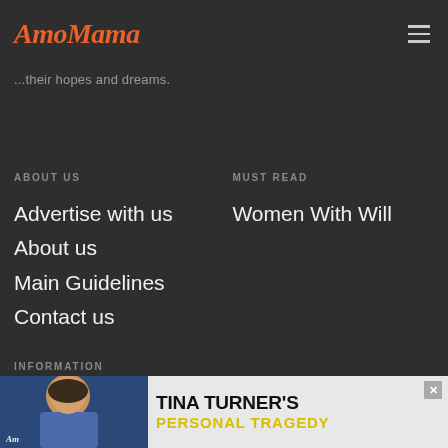AmoMama
...their hopes and dreams.
ABOUT US
Advertise with us
About us
Main Guidelines
Contact us
MUST READ
Women With Will
INFORMATION
Trends
Latest News
Terms of use
[Figure (advertisement): Tina Turner Personal Tragedy advertisement banner with photo of a woman and yellow text]